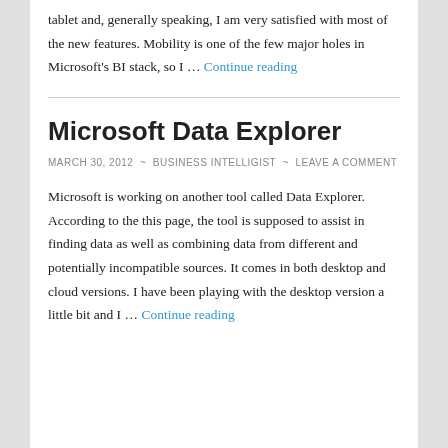tablet and, generally speaking, I am very satisfied with most of the new features. Mobility is one of the few major holes in Microsoft's BI stack, so I … Continue reading
Microsoft Data Explorer
MARCH 30, 2012 ~ BUSINESS INTELLIGIST ~ LEAVE A COMMENT
Microsoft is working on another tool called Data Explorer. According to the this page, the tool is supposed to assist in finding data as well as combining data from different and potentially incompatible sources. It comes in both desktop and cloud versions. I have been playing with the desktop version a little bit and I … Continue reading